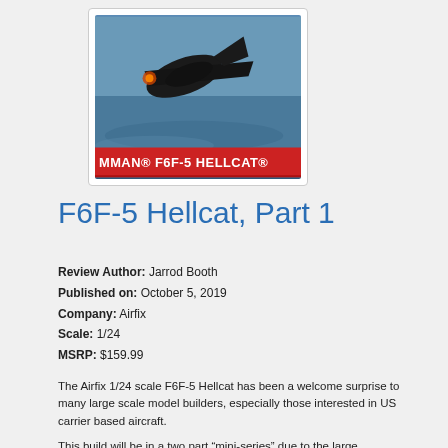[Figure (photo): Book cover of Grumman F6F-5 Hellcat scale model kit by Airfix, showing a dark-colored Hellcat fighter aircraft banking over ocean water, with a red banner at the bottom reading 'MMAN F6F-5 HELLCAT']
F6F-5 Hellcat, Part 1
Review Author:  Jarrod Booth
Published on:  October 5, 2019
Company:  Airfix
Scale:  1/24
MSRP:  $159.99
The Airfix 1/24 scale F6F-5 Hellcat has been a welcome surprise to many large scale model builders, especially those interested in US carrier based aircraft.
This build will be in a two part “mini-series” due to the large size and complexity of the kit, as we build the...